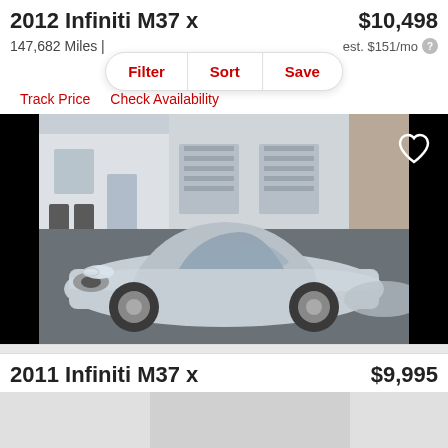2012 Infiniti M37 x
$10,498
147,682 Miles |
est. $151/mo
Filter
Sort
Save
Track Price
Check Availability
[Figure (photo): Silver 2012 Infiniti M37 x sedan parked in front of a commercial building with garage doors, viewed from front-left angle. A white heart/favorite icon is in the upper right corner.]
2011 Infiniti M37 x
$9,995
[Figure (photo): Partially visible gray image area for the 2011 Infiniti M37 x listing.]